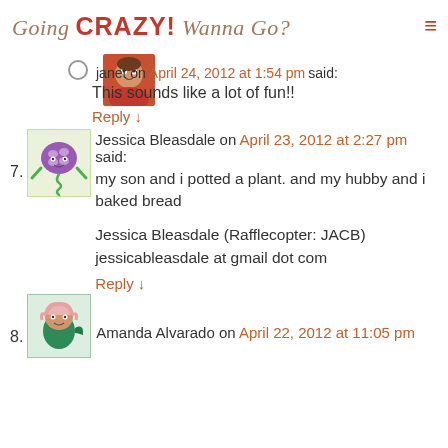Going CRAZY! Wanna Go?
[Figure (photo): Avatar photo of Janet — woman in orange top]
janet on April 24, 2012 at 1:54 pm said:
This sounds like a lot of fun!!
Reply ↓
[Figure (illustration): Cartoon character with purple brain head and green arms on a spring — blog avatar]
7. Jessica Bleasdale on April 23, 2012 at 2:27 pm said:
my son and i potted a plant. and my hubby and i baked bread

Jessica Bleasdale (Rafflecopter: JACB)
jessicableasdale at gmail dot com
Reply ↓
[Figure (illustration): Cartoon character with green body and pink hair — blog avatar]
8. Amanda Alvarado on April 22, 2012 at 11:05 pm